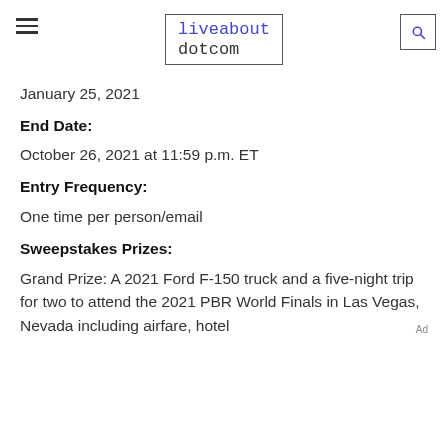liveabout dotcom
January 25, 2021
End Date:
October 26, 2021 at 11:59 p.m. ET
Entry Frequency:
One time per person/email
Sweepstakes Prizes:
Grand Prize: A 2021 Ford F-150 truck and a five-night trip for two to attend the 2021 PBR World Finals in Las Vegas, Nevada including airfare, hotel